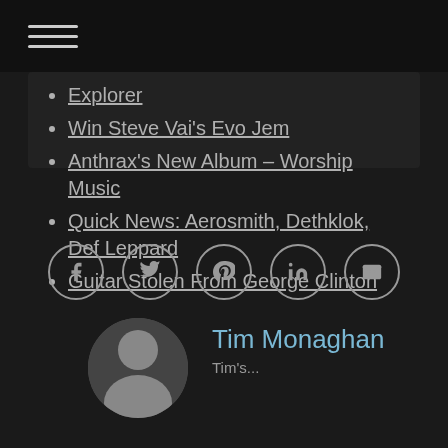Explorer
Win Steve Vai's Evo Jem
Anthrax's New Album – Worship Music
Quick News: Aerosmith, Dethklok, Def Leppard
Guitar Stolen From George Clinton and P-Funk's Tour Bus
[Figure (other): Social sharing icons row: Facebook, Twitter, Pinterest, LinkedIn, Email]
[Figure (photo): Author photo of Tim Monaghan - a man in a black and white portrait]
Tim Monaghan